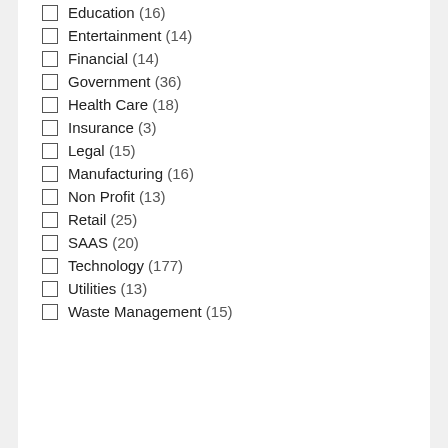Education (16)
Entertainment (14)
Financial (14)
Government (36)
Health Care (18)
Insurance (3)
Legal (15)
Manufacturing (16)
Non Profit (13)
Retail (25)
SAAS (20)
Technology (177)
Utilities (13)
Waste Management (15)